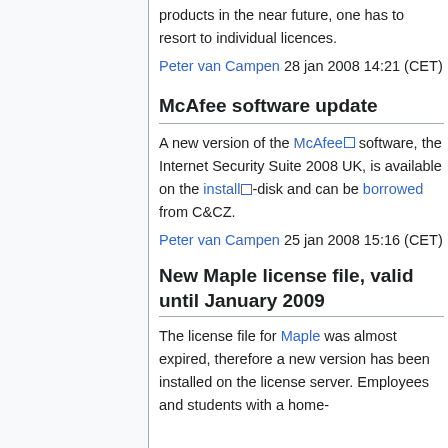products in the near future, one has to resort to individual licences.
Peter van Campen 28 jan 2008 14:21 (CET)
McAfee software update
A new version of the McAfee software, the Internet Security Suite 2008 UK, is available on the install-disk and can be borrowed from C&CZ.
Peter van Campen 25 jan 2008 15:16 (CET)
New Maple license file, valid until January 2009
The license file for Maple was almost expired, therefore a new version has been installed on the license server. Employees and students with a home-